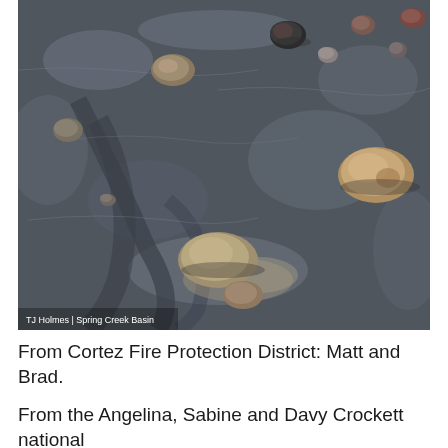[Figure (photo): Aerial or close-up view of dark sandy/muddy riverbed or lake bed with scattered rounded rocks and stones of various sizes. The wet surface has ripple patterns. A watermark reads 'TJ Holmes | Spring Creek Basin' in the lower left corner.]
TJ Holmes | Spring Creek Basin
From Cortez Fire Protection District: Matt and Brad.
From the Angelina, Sabine and Davy Crockett national